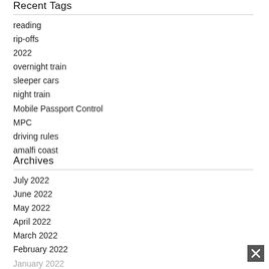Recent Tags
reading
rip-offs
2022
overnight train
sleeper cars
night train
Mobile Passport Control
MPC
driving rules
amalfi coast
Archives
July 2022
June 2022
May 2022
April 2022
March 2022
February 2022
January 2022
December 2021
November 2021